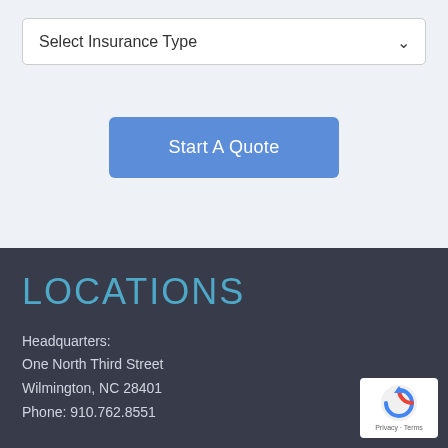Select Insurance Type
Start A Quote
LOCATIONS
Headquarters:
One North Third Street
Wilmington, NC 28401
Phone: 910.762.8551
[Figure (logo): reCAPTCHA badge with circular arrow icon and 'Privacy - Terms' text]